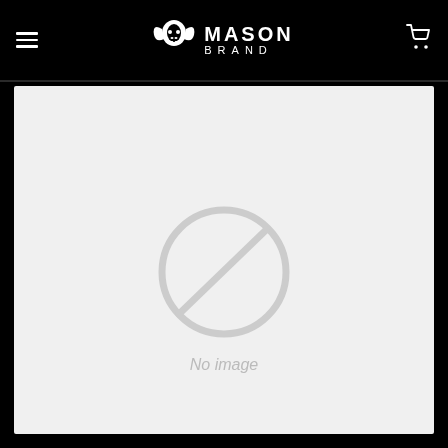[Figure (logo): Mason Brand logo with ram skull icon and text MASON BRAND in white on black background]
[Figure (illustration): No image placeholder with a circle-slash icon and italic text 'No image' in light gray]